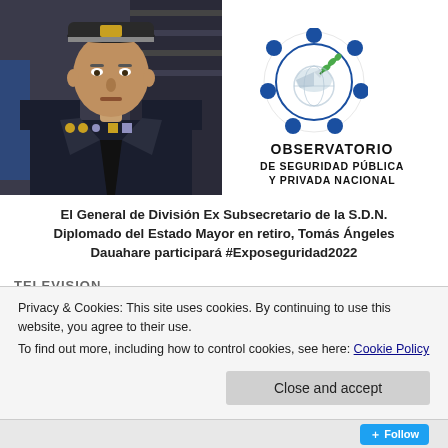[Figure (photo): A military general in uniform with medals and insignia, wearing a dark cap and tie]
[Figure (logo): Observatorio de Seguridad Pública y Privada Nacional logo — circular emblem with dove and olive branch surrounded by blue circles]
El General de División Ex Subsecretario de la S.D.N. Diplomado del Estado Mayor en retiro, Tomás Ángeles Dauahare participará #Exposeguridad2022
TELEVISION
Privacy & Cookies: This site uses cookies. By continuing to use this website, you agree to their use.
To find out more, including how to control cookies, see here: Cookie Policy
Close and accept